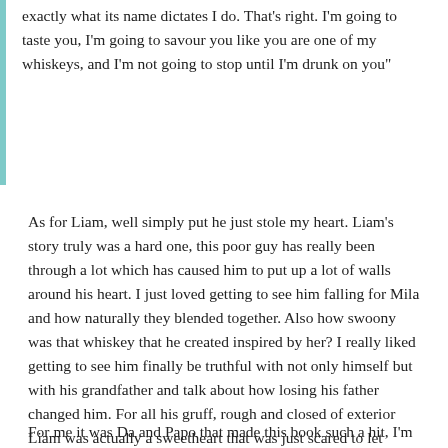exactly what its name dictates I do. That's right. I'm going to taste you, I'm going to savour you like you are one of my whiskeys, and I'm not going to stop until I'm drunk on you"
As for Liam, well simply put he just stole my heart. Liam's story truly was a hard one, this poor guy has really been through a lot which has caused him to put up a lot of walls around his heart. I just loved getting to see him falling for Mila and how naturally they blended together. Also how swoony was that whiskey that he created inspired by her? I really liked getting to see him finally be truthful with not only himself but with his grandfather and talk about how losing his father changed him. For all his gruff, rough and closed of exterior Liam was actually a sweetheart that was just scared to let someone into his heart again.
For me it was Da and Papo that made this book such a hit, I'm